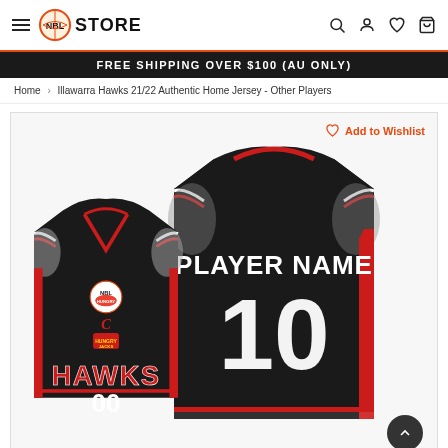NBL STORE — Free Shipping Over $100 (AU Only)
Home › Illawarra Hawks 21/22 Authentic Home Jersey - Other Players
[Figure (photo): Illawarra Hawks 21/22 Authentic Home Jersey product photo showing front and back views of a black basketball jersey with red trim, white lettering reading PLAYER NAME and number 10, HAWKS text on front, Champion logo, NBL patch, and Hungry Jacks sponsor patch.]
Add to Wishlist